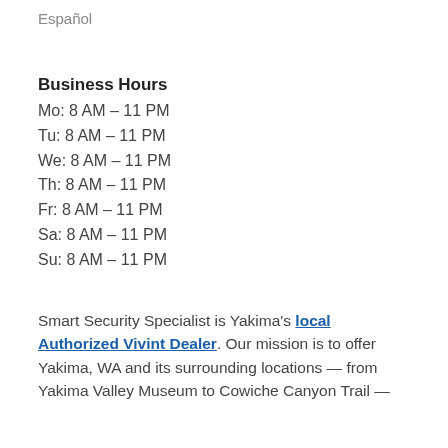Español
Business Hours
Mo: 8 AM – 11 PM
Tu: 8 AM – 11 PM
We: 8 AM – 11 PM
Th: 8 AM – 11 PM
Fr: 8 AM – 11 PM
Sa: 8 AM – 11 PM
Su: 8 AM – 11 PM
Smart Security Specialist is Yakima's local Authorized Vivint Dealer. Our mission is to offer Yakima, WA and its surrounding locations — from Yakima Valley Museum to Cowiche Canyon Trail —